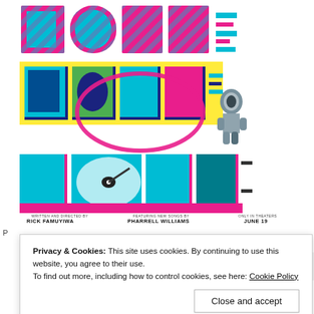[Figure (illustration): Movie poster for 'DOPE' - colorful graphic design showing the word DOPE repeated three times in large stylized letters with zebra-stripe pink and blue patterns and 3D block lettering with a turntable and astronaut figure. Text at bottom: Written and Directed by Rick Famuyiwa | Featuring New Songs by Pharrell Williams | Only in Theaters June 19]
Privacy & Cookies: This site uses cookies. By continuing to use this website, you agree to their use.
To find out more, including how to control cookies, see here: Cookie Policy
Close and accept